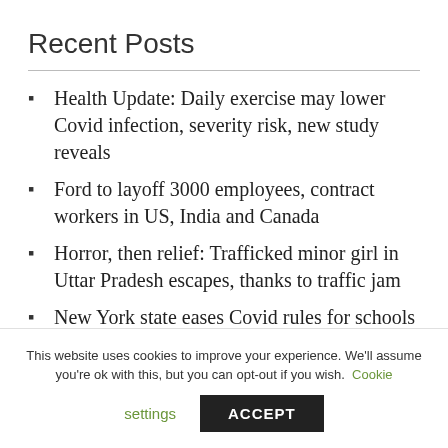Recent Posts
Health Update: Daily exercise may lower Covid infection, severity risk, new study reveals
Ford to layoff 3000 employees, contract workers in US, India and Canada
Horror, then relief: Trafficked minor girl in Uttar Pradesh escapes, thanks to traffic jam
New York state eases Covid rules for schools
India 3rd at International Astronomy & Astrophysics Olympiad; Wins 3 golds, 2 silvers
This website uses cookies to improve your experience. We'll assume you're ok with this, but you can opt-out if you wish. Cookie settings ACCEPT